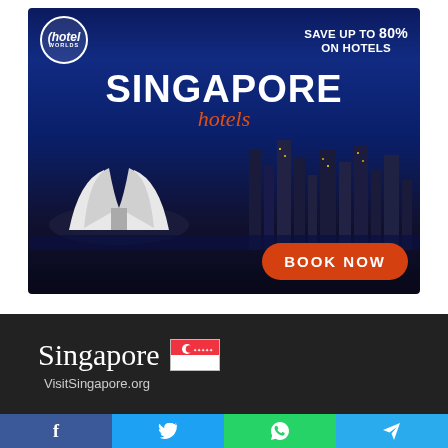[Figure (illustration): Hotel Worlds advertisement banner for Singapore hotels. Dark blue night cityscape background showing Singapore skyline and ArtScience Museum. Top left shows Hotel Worlds circular logo, top right shows 'SAVE UP TO 80% ON HOTELS'. Center text reads 'SINGAPORE hotels'. Bottom right has orange 'BOOK NOW' button.]
[Figure (logo): Singapore destination brand logo: 'Singapore' in large serif font next to Singapore flag icon, with 'VisitSingapore.org' URL below, on dark background.]
[Figure (infographic): Social share bar with four colored buttons: Facebook (blue, f icon), Twitter (light blue, bird icon), WhatsApp (green, phone icon), Telegram (blue, paper plane icon).]